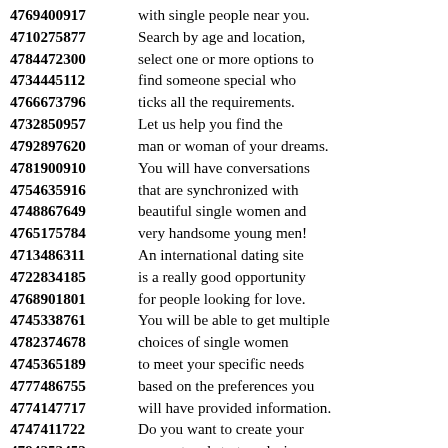4769400917 with single people near you. 4710275877 Search by age and location, 4784472300 select one or more options to 4734445112 find someone special who 4766673796 ticks all the requirements. 4732850957 Let us help you find the 4792897620 man or woman of your dreams. 4781900910 You will have conversations 4754635916 that are synchronized with 4748867649 beautiful single women and 4765175784 very handsome young men! 4713486311 An international dating site 4722834185 is a really good opportunity 4768901801 for people looking for love. 4745338761 You will be able to get multiple 4782374678 choices of single women 4745365189 to meet your specific needs 4777486755 based on the preferences you 4774147717 will have provided information. 4747411722 Do you want to create your 4794253452 account and start exploring 4775908662 thousands of women waiting 4729216418 to meet someone just like you. 4761343313 Dating site is one of the 4738532625 best ways to find love